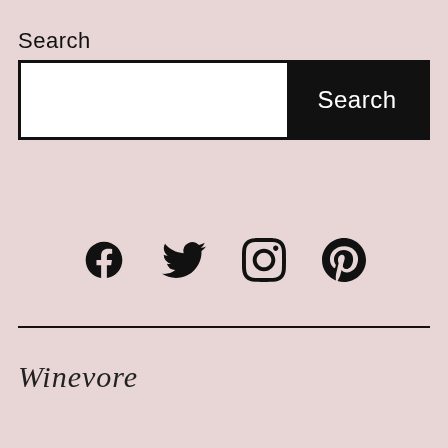Search
[Figure (screenshot): Search input box with white text field on left and black 'Search' button on right]
[Figure (infographic): Row of four social media icons: Facebook, Twitter, Instagram, Pinterest]
Winevore